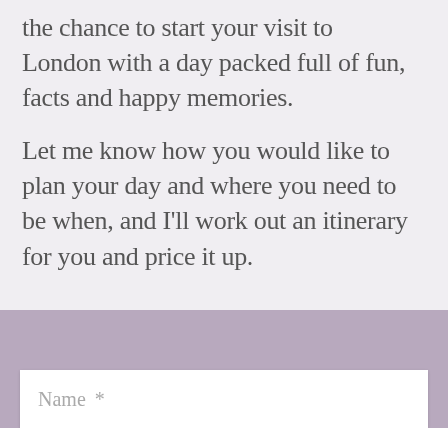the chance to start your visit to London with a day packed full of fun, facts and happy memories.

Let me know how you would like to plan your day and where you need to be when, and I'll work out an itinerary for you and price it up.
[Figure (screenshot): A contact form section with a lavender/mauve background, a dashed top border, a white input field labeled 'Name *', and a bottom bar with a green phone icon and a pink/magenta envelope icon.]